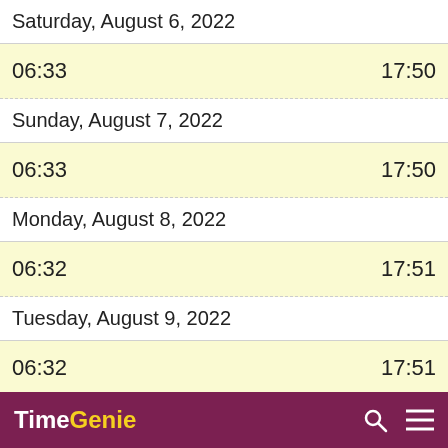Saturday, August 6, 2022
06:33   17:50
Sunday, August 7, 2022
06:33   17:50
Monday, August 8, 2022
06:32   17:51
Tuesday, August 9, 2022
06:32   17:51
Wednesday, August 10, 2...
TimeGenie